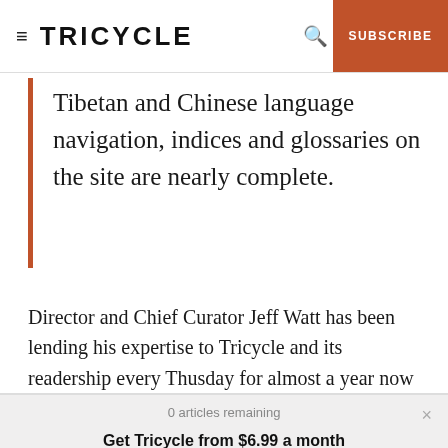≡ TRICYCLE | 🔍 | SUBSCRIBE
Tibetan and Chinese language navigation, indices and glossaries on the site are nearly complete.
Director and Chief Curator Jeff Watt has been lending his expertise to Tricycle and its readership every Thusday for almost a year now on his blog Himalayan Buddhist Art 101.
0 articles remaining
Get Tricycle from $6.99 a month
SUBSCRIBE NOW
Log In
the most inclusive and widely read vehicle for